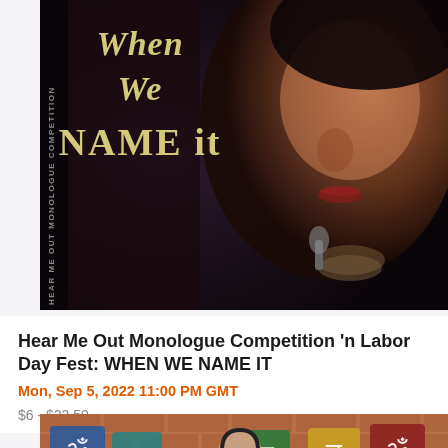[Figure (photo): Book cover or promotional image for 'When We Name It' with a woman's face close-up in dark tones and text reading 'When We NAME it' and 'HEAR ME OUT MONOLOGUE COMPETITION' vertically on the left.]
Hear Me Out Monologue Competition 'n Labor Day Fest: WHEN WE NAME IT
Mon, Sep 5, 2022 11:00 PM GMT
$6 - $22.50
[Figure (photo): Promotional image showing a man with headphones in front of a brick wall with colorful Sanskrit/Hindi character tiles.]